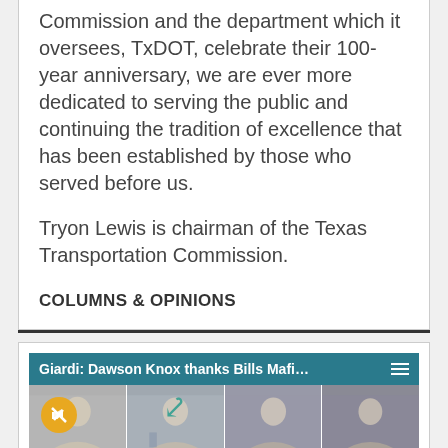Commission and the department which it oversees, TxDOT, celebrate their 100-year anniversary, we are ever more dedicated to serving the public and continuing the tradition of excellence that has been established by those who served before us.
Tryon Lewis is chairman of the Texas Transportation Commission.
COLUMNS & OPINIONS
[Figure (screenshot): Video player screenshot showing 'Giardi: Dawson Knox thanks Bills Mafi...' with hamburger menu icon. Below the header is a thumbnail showing four men in suits in a split-panel view with a mute button (yellow circle with speaker icon) and a cursor arrow overlay.]